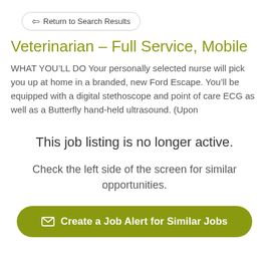Return to Search Results
Veterinarian – Full Service, Mobile
WHAT YOU'LL DO Your personally selected nurse will pick you up at home in a branded, new Ford Escape. You'll be equipped with a digital stethoscope and point of care ECG as well as a Butterfly hand-held ultrasound. (Upon
This job listing is no longer active.
Check the left side of the screen for similar opportunities.
Create a Job Alert for Similar Jobs